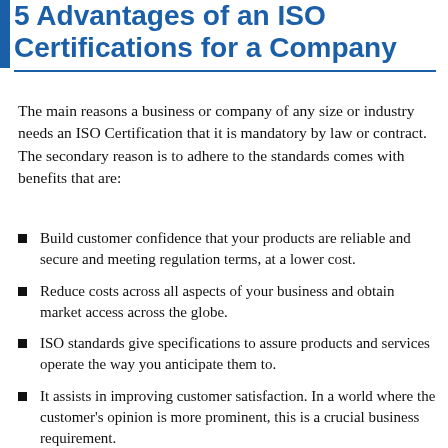5 Advantages of an ISO Certifications for a Company
The main reasons a business or company of any size or industry needs an ISO Certification that it is mandatory by law or contract. The secondary reason is to adhere to the standards comes with benefits that are:
Build customer confidence that your products are reliable and secure and meeting regulation terms, at a lower cost.
Reduce costs across all aspects of your business and obtain market access across the globe.
ISO standards give specifications to assure products and services operate the way you anticipate them to.
It assists in improving customer satisfaction. In a world where the customer's opinion is more prominent, this is a crucial business requirement.
ISO provides international guidelines that incorporate all aspects of product safety, including product recall methods, food safety, child-related products, cross-border trade, and more — aspects of trading, etc.